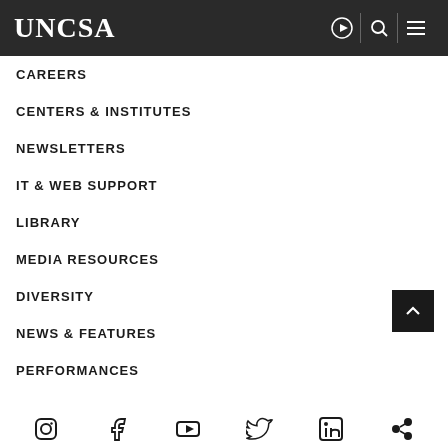UNCSA
CAREERS
CENTERS & INSTITUTES
NEWSLETTERS
IT & WEB SUPPORT
LIBRARY
MEDIA RESOURCES
DIVERSITY
NEWS & FEATURES
PERFORMANCES
[Figure (illustration): Social media icons row: Instagram, Facebook, YouTube, Twitter, LinkedIn, and another icon, shown in black at the bottom of the page]